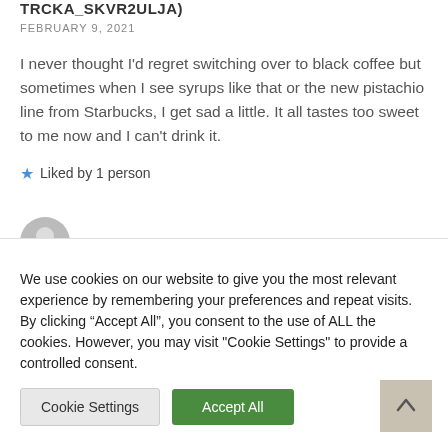TRCKA_SKVR2ULJA)
FEBRUARY 9, 2021
I never thought I'd regret switching over to black coffee but sometimes when I see syrups like that or the new pistachio line from Starbucks, I get sad a little. It all tastes too sweet to me now and I can't drink it.
Liked by 1 person
[Figure (illustration): Partial avatar/profile image circle visible at bottom of comment section]
We use cookies on our website to give you the most relevant experience by remembering your preferences and repeat visits. By clicking “Accept All”, you consent to the use of ALL the cookies. However, you may visit "Cookie Settings" to provide a controlled consent.
Cookie Settings
Accept All